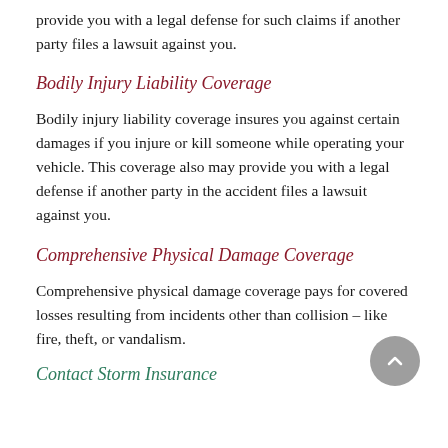provide you with a legal defense for such claims if another party files a lawsuit against you.
Bodily Injury Liability Coverage
Bodily injury liability coverage insures you against certain damages if you injure or kill someone while operating your vehicle. This coverage also may provide you with a legal defense if another party in the accident files a lawsuit against you.
Comprehensive Physical Damage Coverage
Comprehensive physical damage coverage pays for covered losses resulting from incidents other than collision – like fire, theft, or vandalism.
Contact Storm Insurance